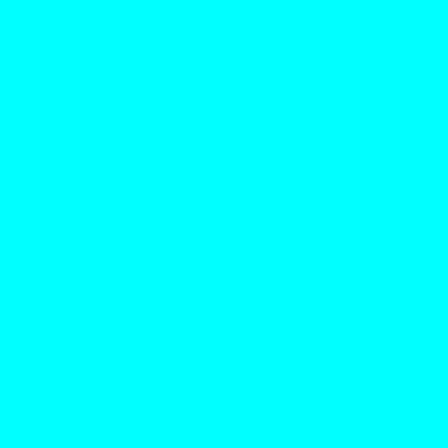| Qty | Price | Description |
| --- | --- | --- |
|  |  | Jim Palmer EX-NM or Better |
| 3 | 3 | 1990-93 Topps Magazine Baseball Cards 015 Ben McDonald EX-NM or Better |
| 3 | 3 | 1990-93 Topps Magazine Baseball Cards 016 John Olerud EX-NM or Better |
| 3 | 3 | 1990-93 Topps Magazine Baseball Cards 017 Don |